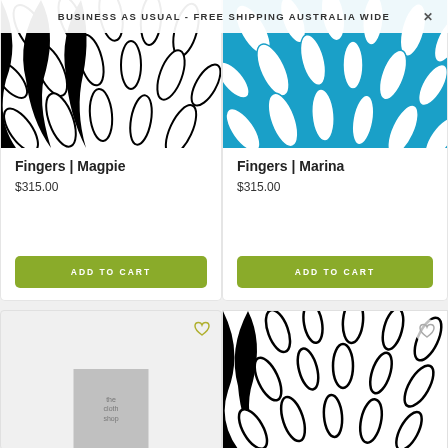BUSINESS AS USUAL - FREE SHIPPING AUSTRALIA WIDE ×
[Figure (photo): Black and white curved leaf/finger pattern textile product image for Fingers | Magpie]
Fingers | Magpie
$315.00
ADD TO CART
[Figure (photo): Teal/turquoise and white curved leaf/finger pattern textile product image for Fingers | Marina]
Fingers | Marina
$315.00
ADD TO CART
[Figure (photo): Light grey background product card with placeholder image, heart/wishlist icon in top right]
[Figure (photo): Black and white curved finger/leaf pattern textile product image, bottom right card]